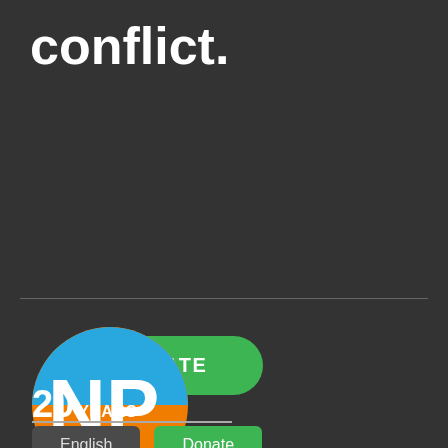conflict.
[Figure (other): Green rounded DONATE button]
[Figure (logo): NP logo circle — blue upper half with white N, orange lower half with white P]
20 YEARS
English
Donate